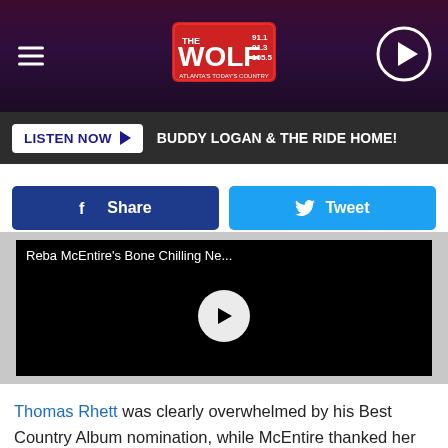THE WOLF 91.1 91.3 105.5 — LISTEN NOW ▶ BUDDY LOGAN & THE RIDE HOME!
[Figure (screenshot): Social share buttons: Facebook Share (blue) and Tweet (light blue)]
[Figure (screenshot): Video player with black background showing title 'Reba McEntire's Bone Chilling Ne...' and a white circular play button in the center]
Thomas Rhett was clearly overwhelmed by his Best Country Album nomination, while McEntire thanked her team, and the Lord, following the good news of her Best Roots Gospel Album nod for Sing it Now: Songs of Faith & Hope, and Isbell